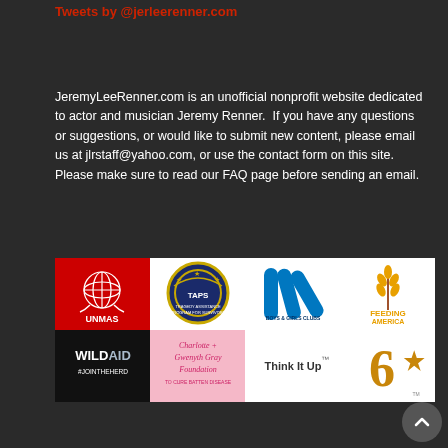Tweets by @jerleerenner.com
JeremyLeeRenner.com is an unofficial nonprofit website dedicated to actor and musician Jeremy Renner.  If you have any questions or suggestions, or would like to submit new content, please email us at jlrstaff@yahoo.com, or use the contact form on this site.  Please make sure to read our FAQ page before sending an email.
[Figure (logo): Row of charity/organization logos: UNMAS (red circle with UN emblem), TAPS (circular badge with stars and silhouettes), Boys & Girls Clubs of Stanislaus County (blue hands logo), Feeding America (orange wheat logo), WildAid #JoinTheHerd (black background), Charlotte + Gwenyth Gray Foundation to cure Batten Disease (pink background cursive), Think It Up (white background), 6-star gold logo (white background)]